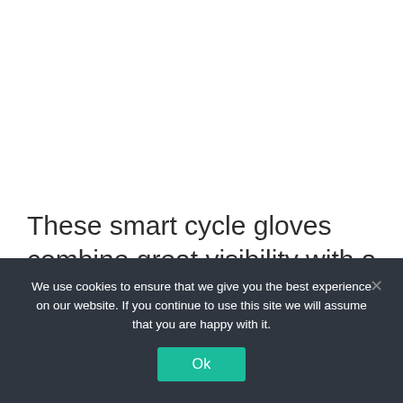These smart cycle gloves combine great visibility with a grippy finish. They include a thin brushed fleece layer to keep you warm, topped with comfortable elasticated fabric so
We use cookies to ensure that we give you the best experience on our website. If you continue to use this site we will assume that you are happy with it.